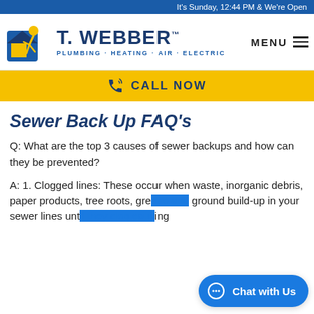It's Sunday, 12:44 PM & We're Open
[Figure (logo): T. Webber Plumbing Heating Air Electric logo with running figure mascot in blue and yellow]
MENU
CALL NOW
Sewer Back Up FAQ's
Q: What are the top 3 causes of sewer backups and how can they be prevented?
A: 1. Clogged lines: These occur when waste, inorganic debris, paper products, tree roots, gre... ground build-up in your sewer lines unt... ...g ...t efficien...inal backups. Preven...d the...ing